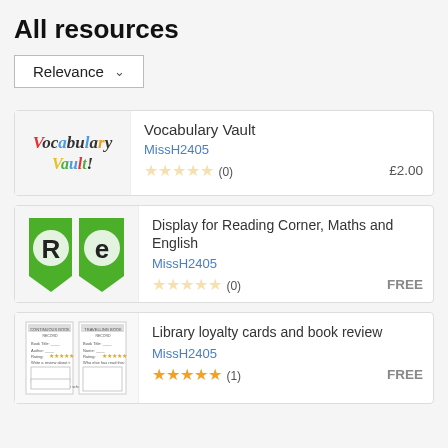All resources
Relevance
[Figure (illustration): Vocabulary Vault logo with colorful lettering]
Vocabulary Vault
MissH2405
☆☆☆☆☆ (0)
£2.00
[Figure (illustration): Green bunting pennants with letters R and e]
Display for Reading Corner, Maths and English
MissH2405
☆☆☆☆☆ (0)
FREE
[Figure (illustration): Library loyalty cards and book review template thumbnails]
Library loyalty cards and book review
MissH2405
★★★★★ (1)
FREE